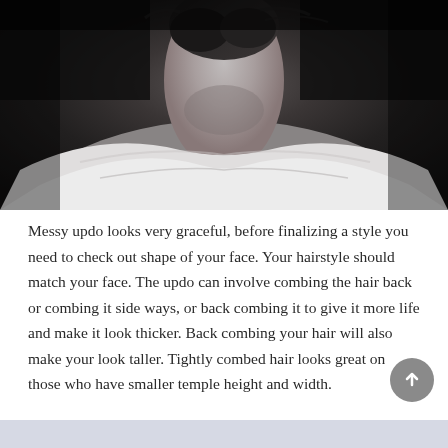[Figure (photo): Black and white close-up photo showing the back of a woman's neck and shoulder with an updo hairstyle]
Messy updo looks very graceful, before finalizing a style you need to check out shape of your face. Your hairstyle should match your face. The updo can involve combing the hair back or combing it side ways, or back combing it to give it more life and make it look thicker. Back combing your hair will also make your look taller. Tightly combed hair looks great on those who have smaller temple height and width.